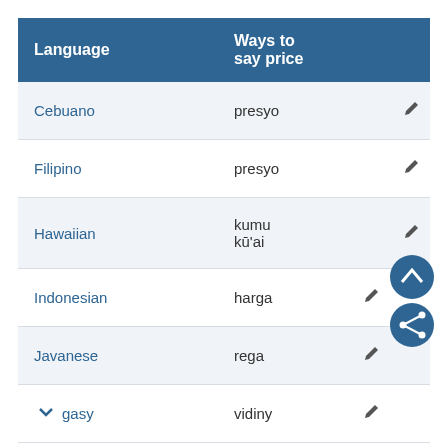| Language | Ways to say price |  |
| --- | --- | --- |
| Cebuano | presyo | ✏ |
| Filipino | presyo | ✏ |
| Hawaiian | kumu kū'ai | ✏ |
| Indonesian | harga | ✏ |
| Javanese | rega | ✏ |
| …gasy | vidiny | ✏ |